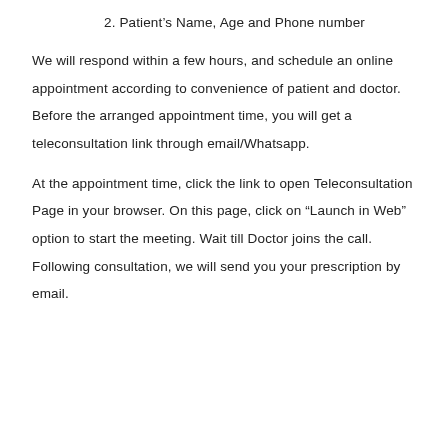2. Patient's Name, Age and Phone number
We will respond within a few hours, and schedule an online appointment according to convenience of patient and doctor. Before the arranged appointment time, you will get a teleconsultation link through email/Whatsapp.
At the appointment time, click the link to open Teleconsultation Page in your browser. On this page, click on “Launch in Web” option to start the meeting. Wait till Doctor joins the call. Following consultation, we will send you your prescription by email.